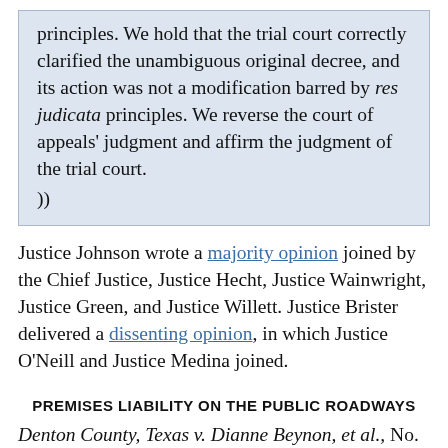principles. We hold that the trial court correctly clarified the unambiguous original decree, and its action was not a modification barred by res judicata principles. We reverse the court of appeals' judgment and affirm the judgment of the trial court.
))
Justice Johnson wrote a majority opinion joined by the Chief Justice, Justice Hecht, Justice Wainwright, Justice Green, and Justice Willett. Justice Brister delivered a dissenting opinion, in which Justice O'Neill and Justice Medina joined.
PREMISES LIABILITY ON THE PUBLIC ROADWAYS
Denton County, Texas v. Dianne Beynon, et al., No. 08-